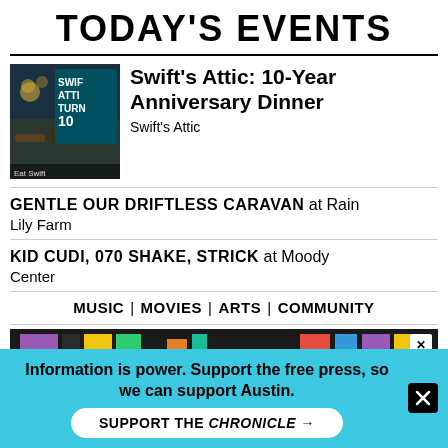TODAY'S EVENTS
[Figure (photo): Photo of Swift's Attic restaurant interior with decorative lighting and a promotional graphic overlay reading 'SWIFT ATTIC TURNS 10']
Swift's Attic: 10-Year Anniversary Dinner
Swift's Attic
GENTLE OUR DRIFTLESS CARAVAN  at Rain Lily Farm
KID CUDI, 070 SHAKE, STRICK  at Moody Center
MUSIC | MOVIES | ARTS | COMMUNITY
[Figure (infographic): Advertisement banner with colorful vertical bars on dark background reading 'JOIN US FOR HAAM DAY']
Information is power. Support the free press, so we can support Austin.
SUPPORT THE CHRONICLE →